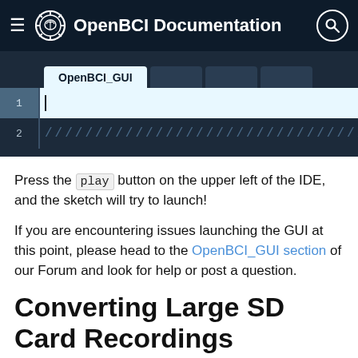OpenBCI Documentation
[Figure (screenshot): Code editor screenshot showing OpenBCI_GUI tab with line numbers 1 and 2, line 1 has a cursor and light blue background, line 2 has a hatched pattern background]
Press the play button on the upper left of the IDE, and the sketch will try to launch!
If you are encountering issues launching the GUI at this point, please head to the OpenBCI_GUI section of our Forum and look for help or post a question.
Converting Large SD Card Recordings